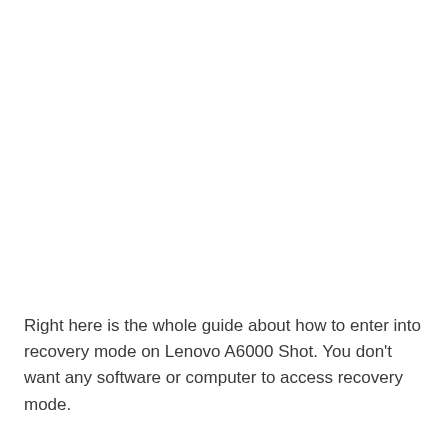Right here is the whole guide about how to enter into recovery mode on Lenovo A6000 Shot. You don't want any software or computer to access recovery mode.